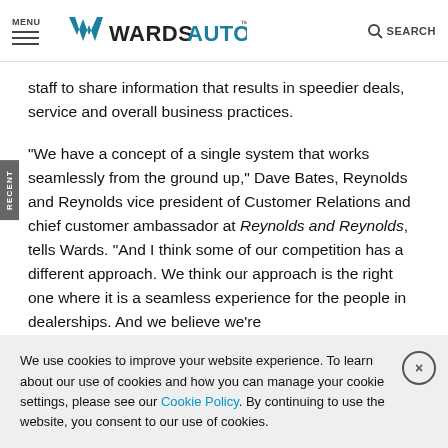MENU | WardsAuto | SEARCH
staff to share information that results in speedier deals, service and overall business practices.
“We have a concept of a single system that works seamlessly from the ground up,” Dave Bates, Reynolds and Reynolds vice president of Customer Relations and chief customer ambassador at Reynolds and Reynolds, tells Wards. “And I think some of our competition has a different approach. We think our approach is the right one where it is a seamless experience for the people in dealerships. And we believe we’re
We use cookies to improve your website experience. To learn about our use of cookies and how you can manage your cookie settings, please see our Cookie Policy. By continuing to use the website, you consent to our use of cookies.